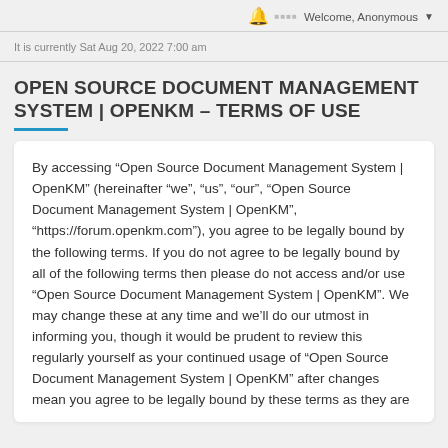Welcome, Anonymous
It is currently Sat Aug 20, 2022 7:00 am
OPEN SOURCE DOCUMENT MANAGEMENT SYSTEM | OPENKM - TERMS OF USE
By accessing “Open Source Document Management System | OpenKM” (hereinafter “we”, “us”, “our”, “Open Source Document Management System | OpenKM”, “https://forum.openkm.com”), you agree to be legally bound by the following terms. If you do not agree to be legally bound by all of the following terms then please do not access and/or use “Open Source Document Management System | OpenKM”. We may change these at any time and we’ll do our utmost in informing you, though it would be prudent to review this regularly yourself as your continued usage of “Open Source Document Management System | OpenKM” after changes mean you agree to be legally bound by these terms as they are